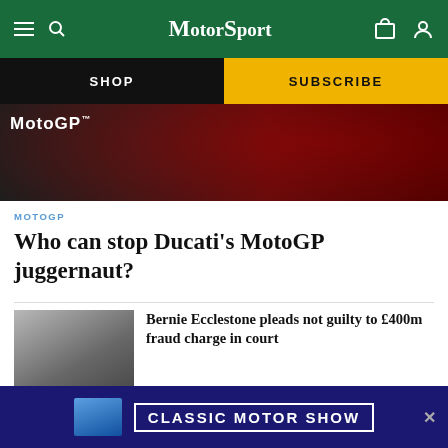MotorSport
SHOP
SUBSCRIBE
[Figure (photo): MotoGP event photo showing crowd and riders in red gear]
MOTOGP
Who can stop Ducati's MotoGP juggernaut?
[Figure (photo): Bernie Ecclestone with group of people outside court]
Bernie Ecclestone pleads not guilty to £400m fraud charge in court
[Figure (photo): Räikkönen in cap]
Räikkönen crashes on
[Figure (infographic): Classic Motor Show advertisement banner with blue Porsche]